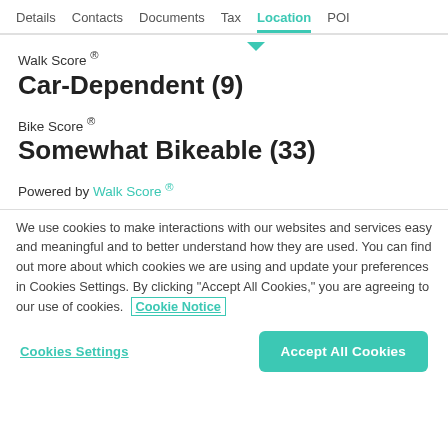Details  Contacts  Documents  Tax  Location  POI
Walk Score ®
Car-Dependent (9)
Bike Score ®
Somewhat Bikeable (33)
Powered by Walk Score ®
We use cookies to make interactions with our websites and services easy and meaningful and to better understand how they are used. You can find out more about which cookies we are using and update your preferences in Cookies Settings. By clicking "Accept All Cookies," you are agreeing to our use of cookies.  Cookie Notice
Cookies Settings
Accept All Cookies